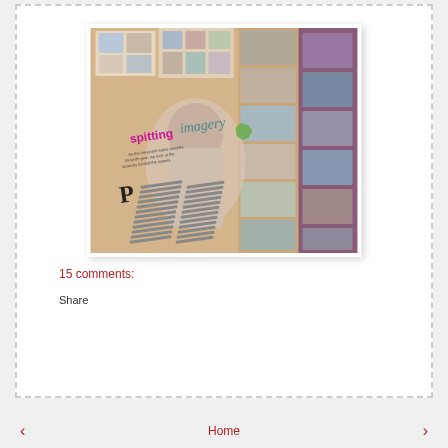[Figure (photo): A photograph of an open magazine spread showing a feature article titled 'spitting imagery' with colorful photos of people and the word 'spitting' in pink/magenta and 'imagery' in teal/green text. The magazine pages show multiple celebrity/person photos and article text columns.]
15 comments:
Share
‹
Home
›